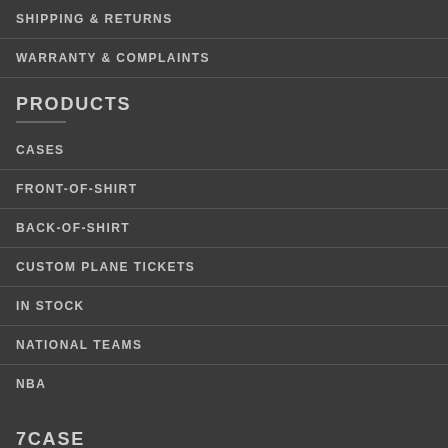SHIPPING & RETURNS
WARRANTY & COMPLAINTS
PRODUCTS
CASES
FRONT-OF-SHIRT
BACK-OF-SHIRT
CUSTOM PLANE TICKETS
IN STOCK
NATIONAL TEAMS
NBA
7CASE